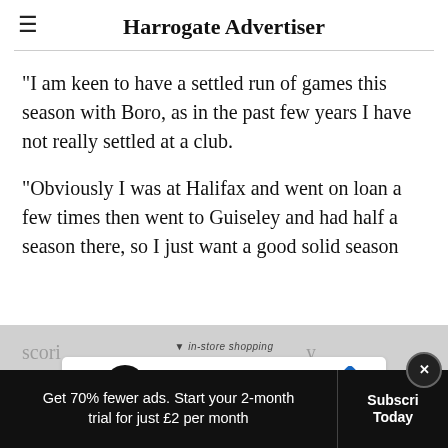Harrogate Advertiser
"I am keen to have a settled run of games this season with Boro, as in the past few years I have not really settled at a club.
"Obviously I was at Halifax and went on loan a few times then went to Guiseley and had half a season there, so I just want a good solid season scori... y belie...e as a club we can do really well in this s
[Figure (screenshot): Inline advertisement overlay: Visit Premium Outlets with logo and navigation icon]
[Figure (screenshot): Bottom bar advertisement: Get 70% fewer ads. Start your 2-month trial for just £2 per month. Subscribe Today button with close X button.]